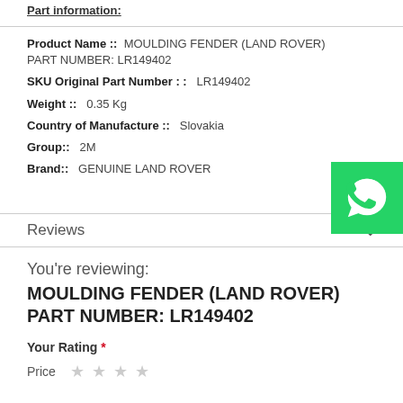Part information:
Product Name ::  MOULDING FENDER (LAND ROVER) PART NUMBER: LR149402
SKU Original Part Number : :  LR149402
Weight ::  0.35 Kg
Country of Manufacture ::  Slovakia
Group::  2M
Brand::  GENUINE LAND ROVER
[Figure (logo): WhatsApp green button with phone icon]
Reviews
You're reviewing:
MOULDING FENDER (LAND ROVER) PART NUMBER: LR149402
Your Rating *
Price ★★★★